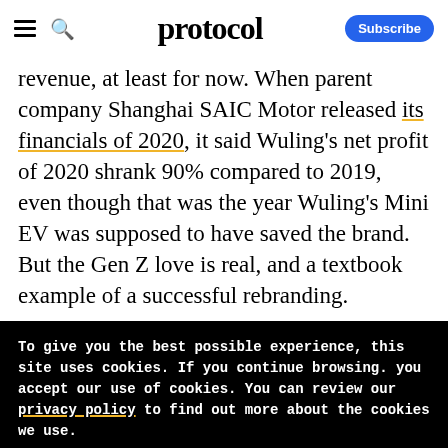protocol — Subscribe
revenue, at least for now. When parent company Shanghai SAIC Motor released its financials of 2020, it said Wuling's net profit of 2020 shrank 90% compared to 2019, even though that was the year Wuling's Mini EV was supposed to have saved the brand. But the Gen Z love is real, and a textbook example of a successful rebranding.
To give you the best possible experience, this site uses cookies. If you continue browsing. you accept our use of cookies. You can review our privacy policy to find out more about the cookies we use.
Accept